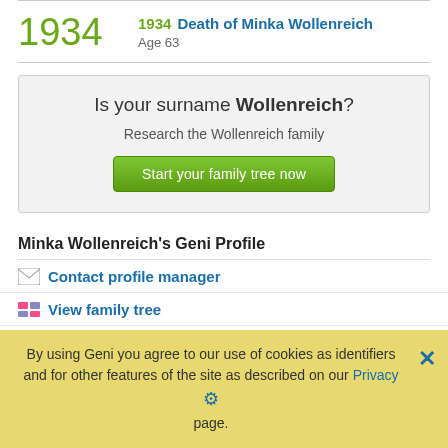1934 — Death of Minka Wollenreich, Age 63
[Figure (infographic): Promotional box: Is your surname Wollenreich? Research the Wollenreich family. Start your family tree now button.]
Minka Wollenreich's Geni Profile
Contact profile manager
View family tree
Problem with this page?
By using Geni you agree to our use of cookies as identifiers and for other features of the site as described on our Privacy page.